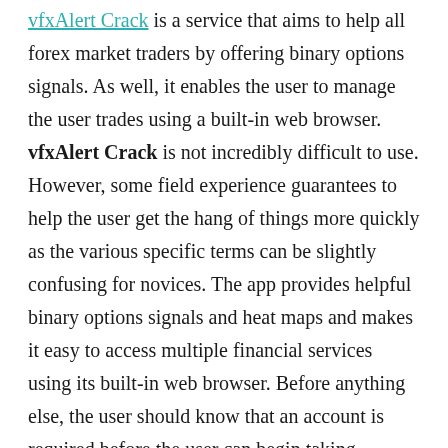vfxAlert Crack is a service that aims to help all forex market traders by offering binary options signals. As well, it enables the user to manage the user trades using a built-in web browser. vfxAlert Crack is not incredibly difficult to use. However, some field experience guarantees to help the user get the hang of things more quickly as the various specific terms can be slightly confusing for novices. The app provides helpful binary options signals and heat maps and makes it easy to access multiple financial services using its built-in web browser. Before anything else, the user should know that an account is required before the user can begin taking advantage of the service. At the same time, the profile can manage from the web interface.